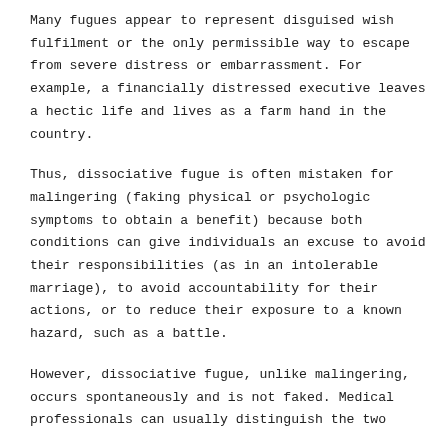Many fugues appear to represent disguised wish fulfilment or the only permissible way to escape from severe distress or embarrassment. For example, a financially distressed executive leaves a hectic life and lives as a farm hand in the country.
Thus, dissociative fugue is often mistaken for malingering (faking physical or psychologic symptoms to obtain a benefit) because both conditions can give individuals an excuse to avoid their responsibilities (as in an intolerable marriage), to avoid accountability for their actions, or to reduce their exposure to a known hazard, such as a battle.
However, dissociative fugue, unlike malingering, occurs spontaneously and is not faked. Medical professionals can usually distinguish the two